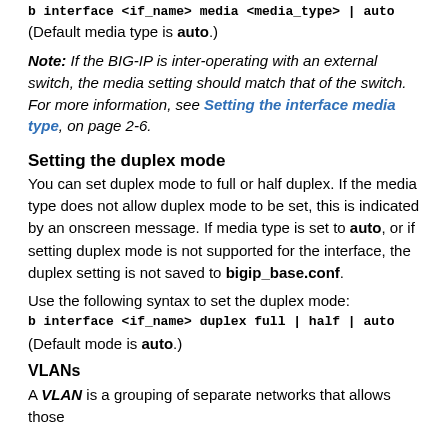b interface <if_name> media <media_type> | auto
(Default media type is auto.)
Note: If the BIG-IP is inter-operating with an external switch, the media setting should match that of the switch. For more information, see Setting the interface media type, on page 2-6.
Setting the duplex mode
You can set duplex mode to full or half duplex. If the media type does not allow duplex mode to be set, this is indicated by an onscreen message. If media type is set to auto, or if setting duplex mode is not supported for the interface, the duplex setting is not saved to bigip_base.conf.
Use the following syntax to set the duplex mode:
b interface <if_name> duplex full | half | auto
(Default mode is auto.)
VLANs
A VLAN is a grouping of separate networks that allows those